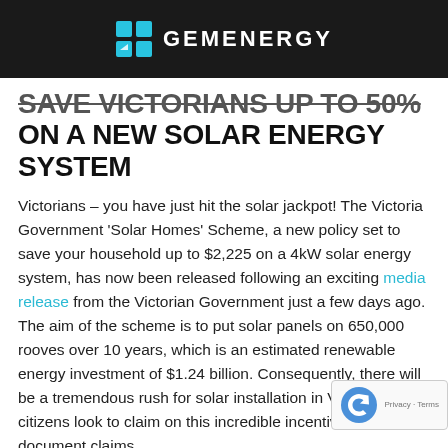[Figure (logo): GemEnergy logo with cyan solar panel grid icon and white text GEMENERGY on dark background header bar]
SAVE VICTORIANS UP TO 50% ON A NEW SOLAR ENERGY SYSTEM
Victorians – you have just hit the solar jackpot! The Victoria Government ‘Solar Homes’ Scheme, a new policy set to save your household up to $2,225 on a 4kW solar energy system, has now been released following an exciting media release from the Victorian Government just a few days ago. The aim of the scheme is to put solar panels on 650,000 rooves over 10 years, which is an estimated renewable energy investment of $1.24 billion. Consequently, there will be a tremendous rush for solar installation in Victoria as citizens look to claim on this incredible incentive. The document claims